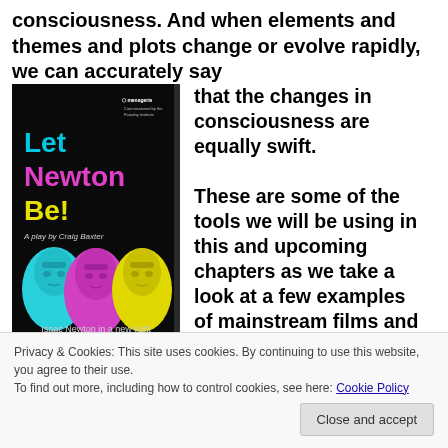consciousness. And when elements and themes and plots change or evolve rapidly, we can accurately say that the changes in consciousness are equally swift.

These are some of the tools we will be using in this and upcoming chapters as we take a look at a few examples of mainstream films and what
[Figure (photo): Book cover of 'Let Newton Be! A play by Craig Baxter - Isaac Newton in a new light', showing three Easter Island-like stone head sculptures lit in cyan, magenta, and yellow on a black background, with the Menagerie theatre company logo.]
Privacy & Cookies: This site uses cookies. By continuing to use this website, you agree to their use.
To find out more, including how to control cookies, see here: Cookie Policy

Close and accept